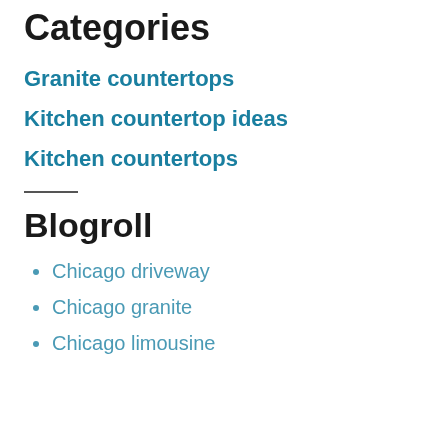Categories
Granite countertops
Kitchen countertop ideas
Kitchen countertops
Blogroll
Chicago driveway
Chicago granite
Chicago limousine